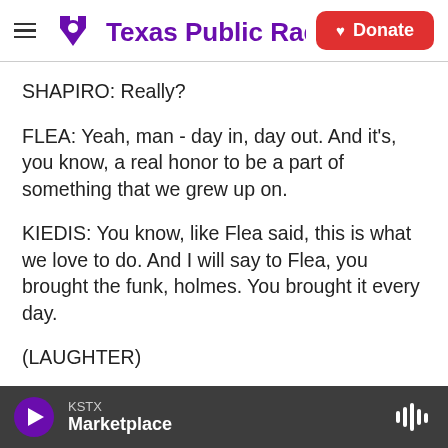Texas Public Radio | Donate
SHAPIRO: Really?
FLEA: Yeah, man - day in, day out. And it's, you know, a real honor to be a part of something that we grew up on.
KIEDIS: You know, like Flea said, this is what we love to do. And I will say to Flea, you brought the funk, holmes. You brought it every day.
(LAUGHTER)
FLEA: Thanks.
KSTX Marketplace